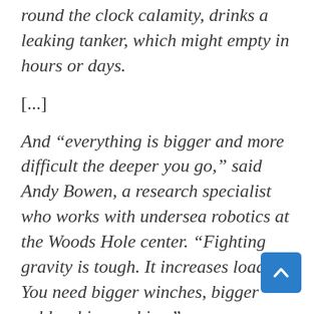round the clock calamity, drinks a leaking tanker, which might empty in hours or days.
[...]
And “everything is bigger and more difficult the deeper you go,” said Andy Bowen, a research specialist who works with undersea robotics at the Woods Hole center. “Fighting gravity is tough. It increases loads. You need bigger winches, bigger cables, bigger ships.”